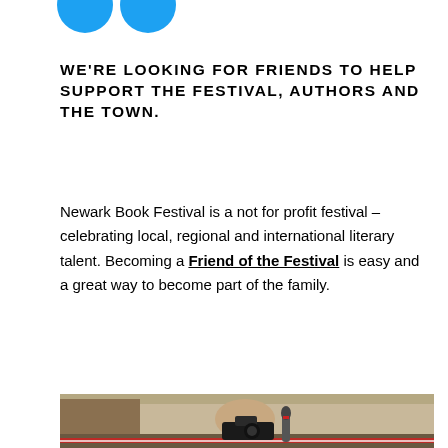[Figure (other): Two blue circular social media icons (Twitter/Facebook style) partially visible at top]
WE'RE LOOKING FOR FRIENDS TO HELP SUPPORT THE FESTIVAL, AUTHORS AND THE TOWN.
Newark Book Festival is a not for profit festival – celebrating local, regional and international literary talent. Becoming a Friend of the Festival is easy and a great way to become part of the family.
[Figure (photo): A child holding a Lumix camera photographing an outdoor festival scene with musicians playing on stage in the background, red and white barrier tape visible]